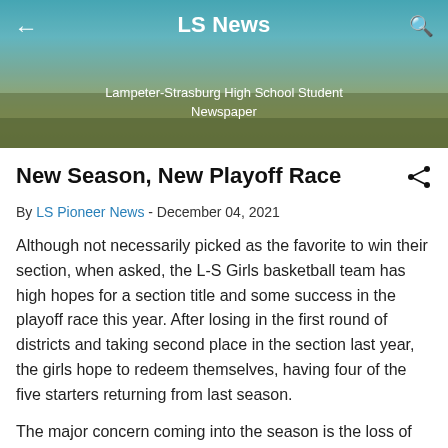LS News — Lampeter-Strasburg High School Student Newspaper
New Season, New Playoff Race
By LS Pioneer News - December 04, 2021
Although not necessarily picked as the favorite to win their section, when asked, the L-S Girls basketball team has high hopes for a section title and some success in the playoff race this year. After losing in the first round of districts and taking second place in the section last year, the girls hope to redeem themselves, having four of the five starters returning from last season.
The major concern coming into the season is the loss of the one impactful starter, Emma Drouillard. Drouillard averaged